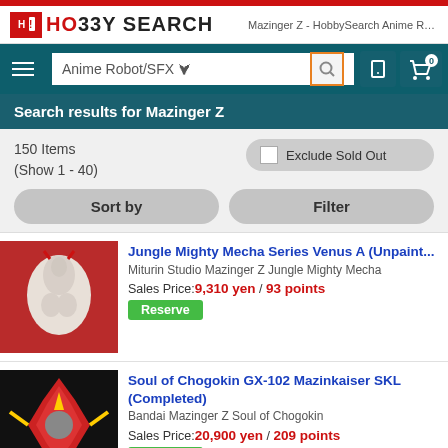Mazinger Z - HobbySearch Anime Ro...
[Figure (screenshot): HobbySearch logo with red icon and bold text]
Anime Robot/SFX
Search results for Mazinger Z
150 Items
(Show 1 - 40)
Exclude Sold Out
Sort by
Filter
Jungle Mighty Mecha Series Venus A (Unpaint... Miturin Studio Mazinger Z Jungle Mighty Mecha
Sales Price:9,310 yen / 93 points
Reserve
Soul of Chogokin GX-102 Mazinkaiser SKL (Completed) Bandai Mazinger Z Soul of Chogokin
Sales Price:20,900 yen / 209 points
Reserve
Metal Action Pilder Set (Completed) Evolution-Toy Mazinger Z Metal Action